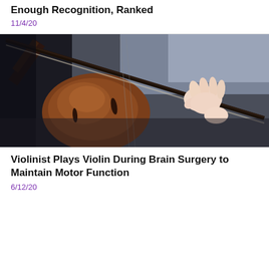Enough Recognition, Ranked
11/4/20
[Figure (photo): Close-up photo of a violinist playing violin, showing the instrument body and a hand pressing the bow strings against the instrument, with a blurred background.]
Violinist Plays Violin During Brain Surgery to Maintain Motor Function
6/12/20